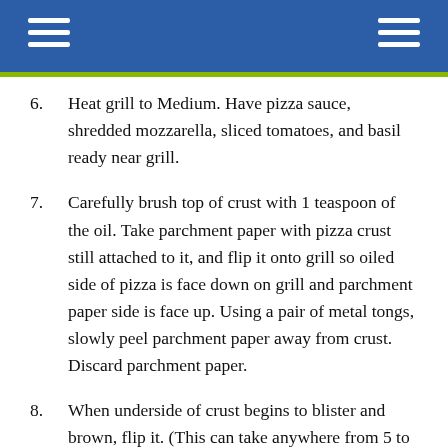6. Heat grill to Medium. Have pizza sauce, shredded mozzarella, sliced tomatoes, and basil ready near grill.
7. Carefully brush top of crust with 1 teaspoon of the oil. Take parchment paper with pizza crust still attached to it, and flip it onto grill so oiled side of pizza is face down on grill and parchment paper side is face up. Using a pair of metal tongs, slowly peel parchment paper away from crust. Discard parchment paper.
8. When underside of crust begins to blister and brown, flip it. (This can take anywhere from 5 to 10 minutes, depending on type of grill.)
9. Quickly spread tomato sauce over crust. Top